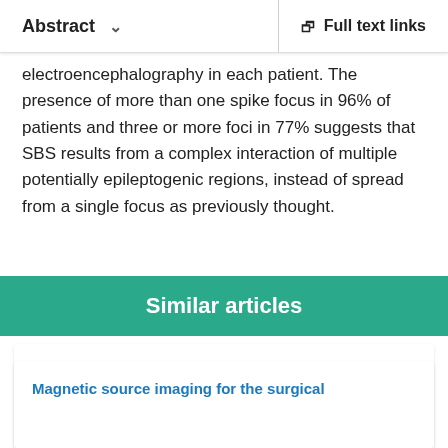Abstract  ∨    Full text links
electroencephalography in each patient. The presence of more than one spike focus in 96% of patients and three or more foci in 77% suggests that SBS results from a complex interaction of multiple potentially epileptogenic regions, instead of spread from a single focus as previously thought.
Similar articles
Unfavorable surgical outcomes in partial epilepsy with secondary bilateral synchrony: Intracranial electroencephalography study.
Sunwoo JS, et al. Epilepsy Res. 2016. PMID: 27003332
Magnetic source imaging for the surgical evaluation of electroencephalography-confirmed foci